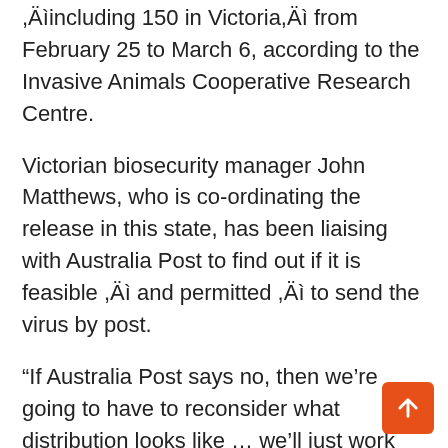,Äìincluding 150 in Victoria,Äì from February 25 to March 6, according to the Invasive Animals Cooperative Research Centre.
Victorian biosecurity manager John Matthews, who is co-ordinating the release in this state, has been liaising with Australia Post to find out if it is feasible ,Äì and permitted ,Äì to send the virus by post.
“If Australia Post says no, then we’re going to have to reconsider what distribution looks like … we’ll just work through the process and they’ll either give us a green flag or a red flag,” he said.
“It will be a green flag with conditions, there’s no doubt about that, and that will be packaging size